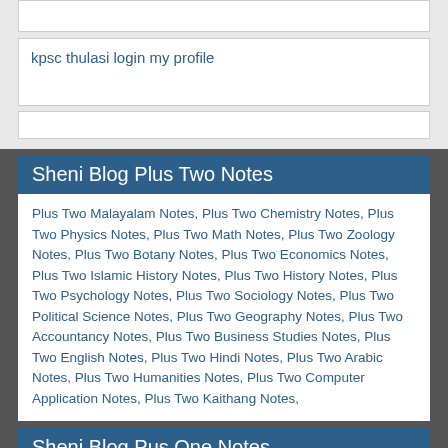kpsc thulasi login my profile
Sheni Blog Plus Two Notes
Plus Two Malayalam Notes, Plus Two Chemistry Notes, Plus Two Physics Notes, Plus Two Math Notes, Plus Two Zoology Notes, Plus Two Botany Notes, Plus Two Economics Notes, Plus Two Islamic History Notes, Plus Two History Notes, Plus Two Psychology Notes, Plus Two Sociology Notes, Plus Two Political Science Notes, Plus Two Geography Notes, Plus Two Accountancy Notes, Plus Two Business Studies Notes, Plus Two English Notes, Plus Two Hindi Notes, Plus Two Arabic Notes, Plus Two Humanities Notes, Plus Two Computer Application Notes, Plus Two Kaithang Notes,
Sheni Blog Pus One Notes
Plus One Malayalam Notes, Plus One Chemistry Notes, Plus One Physics Notes, Plus One Math Notes, Plus One Zoology Notes, Plus